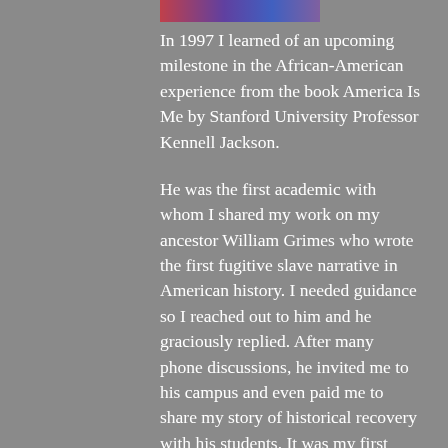[Figure (photo): Partial image strip at the top of the column showing colorful figures]
In 1997 I learned of an upcoming milestone in the African-American experience from the book America Is Me by Stanford University Professor Kennell Jackson.
He was the first academic with whom I shared my work on my ancestor William Grimes who wrote the first fugitive slave narrative in American history. I needed guidance so I reached out to him and he graciously replied. After many phone discussions, he invited me to his campus and even paid me to share my story of historical recovery with his students. It was my first paid speaking engagement. I still have the